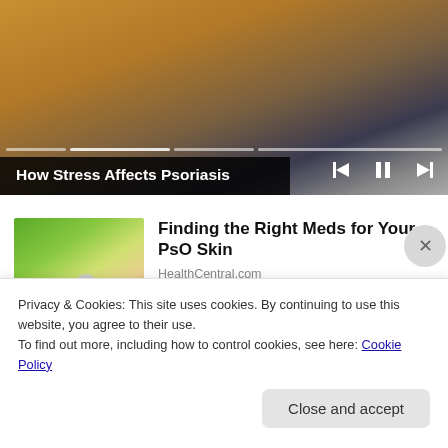[Figure (screenshot): Video player screenshot showing a woman in a mustard yellow sweater, with playback controls and progress bar overlay.]
How Stress Affects Psoriasis
[Figure (photo): Thumbnail image of a hand holding a small medication pill, with green background suggesting outdoor setting.]
Finding the Right Meds for Your PsO Skin
HealthCentral.com
Privacy & Cookies: This site uses cookies. By continuing to use this website, you agree to their use.
To find out more, including how to control cookies, see here: Cookie Policy
Close and accept